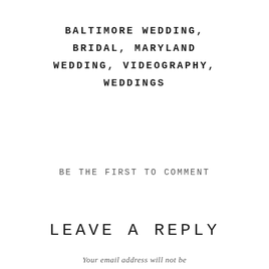BALTIMORE WEDDING, BRIDAL, MARYLAND WEDDING, VIDEOGRAPHY, WEDDINGS
BE THE FIRST TO COMMENT
LEAVE A REPLY
Your email address will not be